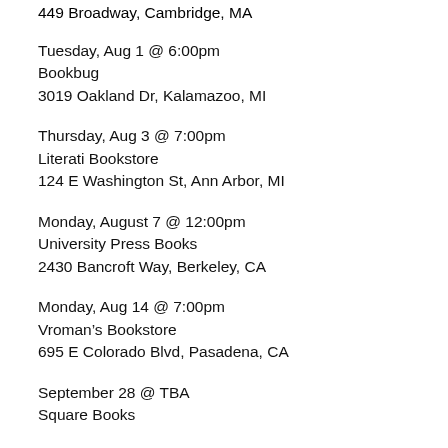449 Broadway, Cambridge, MA
Tuesday, Aug 1 @ 6:00pm
Bookbug
3019 Oakland Dr, Kalamazoo, MI
Thursday, Aug 3 @ 7:00pm
Literati Bookstore
124 E Washington St, Ann Arbor, MI
Monday, August 7 @ 12:00pm
University Press Books
2430 Bancroft Way, Berkeley, CA
Monday, Aug 14 @ 7:00pm
Vroman’s Bookstore
695 E Colorado Blvd, Pasadena, CA
September 28 @ TBA
Square Books